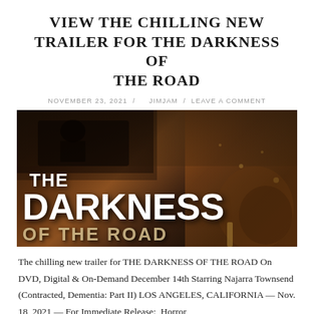VIEW THE CHILLING NEW TRAILER FOR THE DARKNESS OF THE ROAD
NOVEMBER 23, 2021  /  JIMJAM  /  LEAVE A COMMENT
[Figure (photo): Movie promotional image for 'The Darkness of the Road' showing a dark, moody scene with a vehicle and large white bold text overlay reading 'THE DARKNESS OF THE ROAD' on a dark brown/black background with atmospheric lighting.]
The chilling new trailer for THE DARKNESS OF THE ROAD On DVD, Digital & On-Demand December 14th Starring Najarra Townsend (Contracted, Dementia: Part II) LOS ANGELES, CALIFORNIA — Nov. 18, 2021 — For Immediate Release:  Horror